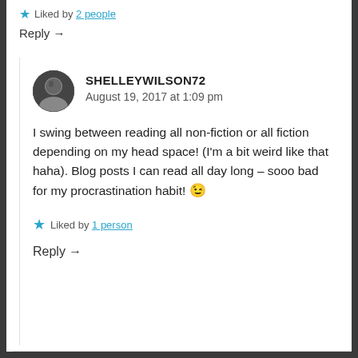★ Liked by 2 people
Reply →
SHELLEYWILSON72
August 19, 2017 at 1:09 pm
I swing between reading all non-fiction or all fiction depending on my head space! (I'm a bit weird like that haha). Blog posts I can read all day long – sooo bad for my procrastination habit! 😉
★ Liked by 1 person
Reply →